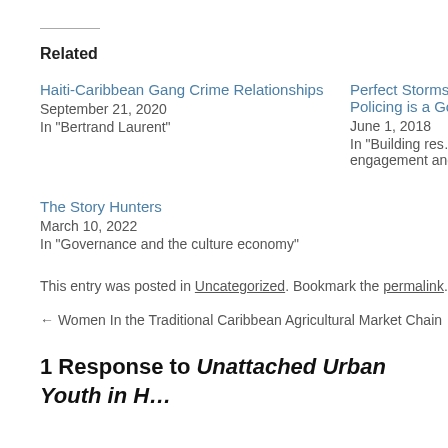Related
Haiti-Caribbean Gang Crime Relationships
September 21, 2020
In "Bertrand Laurent"
Perfect Storms i… Policing is a Go…
June 1, 2018
In "Building res… engagement and…
The Story Hunters
March 10, 2022
In "Governance and the culture economy"
This entry was posted in Uncategorized. Bookmark the permalink.
← Women In the Traditional Caribbean Agricultural Market Chain
1 Response to Unattached Urban Youth in H…